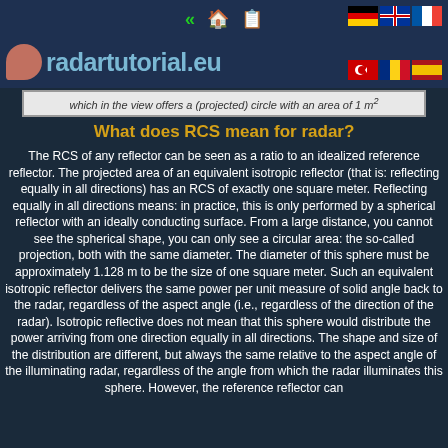radartutorial.eu
which in the view offers a (projected) circle with an area of 1 m²
What does RCS mean for radar?
The RCS of any reflector can be seen as a ratio to an idealized reference reflector. The projected area of an equivalent isotropic reflector (that is: reflecting equally in all directions) has an RCS of exactly one square meter. Reflecting equally in all directions means: in practice, this is only performed by a spherical reflector with an ideally conducting surface. From a large distance, you cannot see the spherical shape, you can only see a circular area: the so-called projection, both with the same diameter. The diameter of this sphere must be approximately 1.128 m to be the size of one square meter. Such an equivalent isotropic reflector delivers the same power per unit measure of solid angle back to the radar, regardless of the aspect angle (i.e., regardless of the direction of the radar). Isotropic reflective does not mean that this sphere would distribute the power arriving from one direction equally in all directions. The shape and size of the distribution are different, but always the same relative to the aspect angle of the illuminating radar, regardless of the angle from which the radar illuminates this sphere. However, the reference reflector can